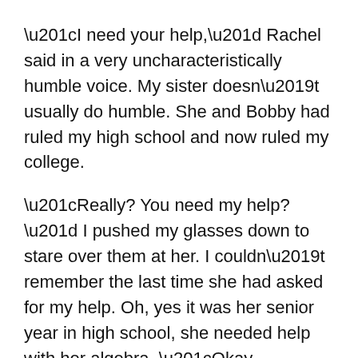“I need your help,” Rachel said in a very uncharacteristically humble voice. My sister doesn’t usually do humble. She and Bobby had ruled my high school and now ruled my college.
“Really? You need my help?” I pushed my glasses down to stare over them at her. I couldn’t remember the last time she had asked for my help. Oh, yes it was her senior year in high school, she needed help with her algebra. “Okay, what’s up sis?”
Rachel sighed miserably as she flopped on the couch next to my chair. She looked around the apartment for my roommate. “Don’t worry about Jimmy, he won’t be in tonight, he’s got a hot date with Tonya and it’s Friday night so I don’t expect him back until